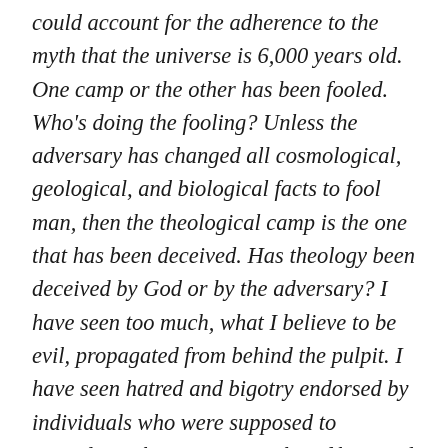could account for the adherence to the myth that the universe is 6,000 years old. One camp or the other has been fooled. Who's doing the fooling? Unless the adversary has changed all cosmological, geological, and biological facts to fool man, then the theological camp is the one that has been deceived. Has theology been deceived by God or by the adversary? I have seen too much, what I believe to be evil, propagated from behind the pulpit. I have seen hatred and bigotry endorsed by individuals who were supposed to spreading Christian principles of love and tolerance. I studied science and medicine in college. How can the rancor and hypocrisy I